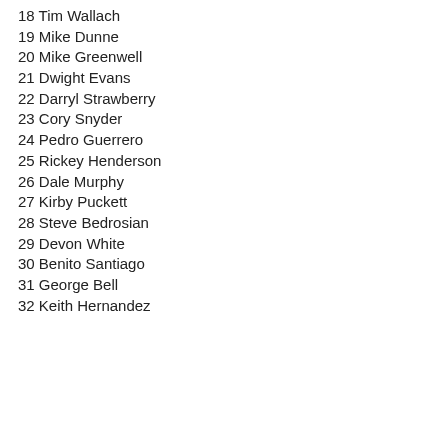18 Tim Wallach
19 Mike Dunne
20 Mike Greenwell
21 Dwight Evans
22 Darryl Strawberry
23 Cory Snyder
24 Pedro Guerrero
25 Rickey Henderson
26 Dale Murphy
27 Kirby Puckett
28 Steve Bedrosian
29 Devon White
30 Benito Santiago
31 George Bell
32 Keith Hernandez